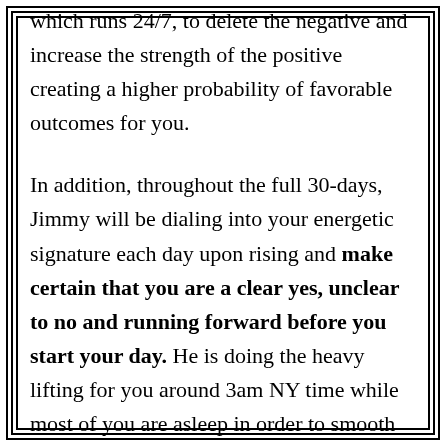which runs 24/7, to delete the negative and increase the strength of the positive creating a higher probability of favorable outcomes for you.

In addition, throughout the full 30-days, Jimmy will be dialing into your energetic signature each day upon rising and make certain that you are a clear yes, unclear to no and running forward before you start your day. He is doing the heavy lifting for you around 3am NY time while most of you are asleep in order to smooth out your way and increase your most